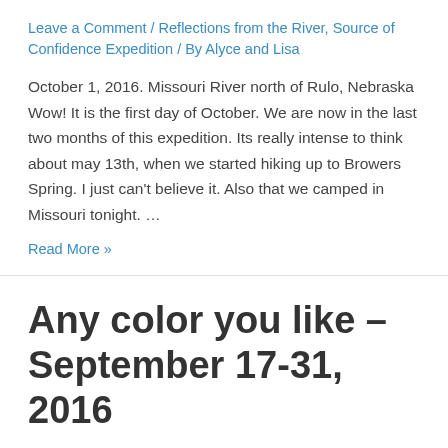Leave a Comment / Reflections from the River, Source of Confidence Expedition / By Alyce and Lisa
October 1, 2016. Missouri River north of Rulo, Nebraska Wow! It is the first day of October. We are now in the last two months of this expedition. Its really intense to think about may 13th, when we started hiking up to Browers Spring. I just can't believe it. Also that we camped in Missouri tonight. …
Read More »
Any color you like – September 17-31, 2016